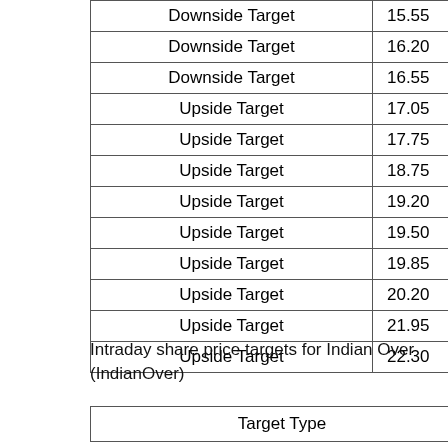| Target Type | Value |
| --- | --- |
| Downside Target | 15.55 |
| Downside Target | 16.20 |
| Downside Target | 16.55 |
| Upside Target | 17.05 |
| Upside Target | 17.75 |
| Upside Target | 18.75 |
| Upside Target | 19.20 |
| Upside Target | 19.50 |
| Upside Target | 19.85 |
| Upside Target | 20.20 |
| Upside Target | 21.95 |
| Upside Target | 22.30 |
Intraday share price targets for Indian Over (IndianOver)
| Target Type | Value |
| --- | --- |